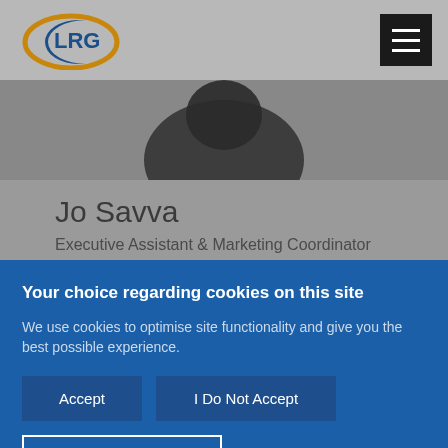[Figure (logo): LRG company logo with blue oval and gold arc]
[Figure (photo): Partial view of a person's photo/headshot in grayscale]
Jo Savva
Executive Assistant & Marketing Coordinator
Your choice regarding cookies on this site
We use cookies to optimise site functionality and give you the best possible experience.
Accept
I Do Not Accept
Cookie Preferences